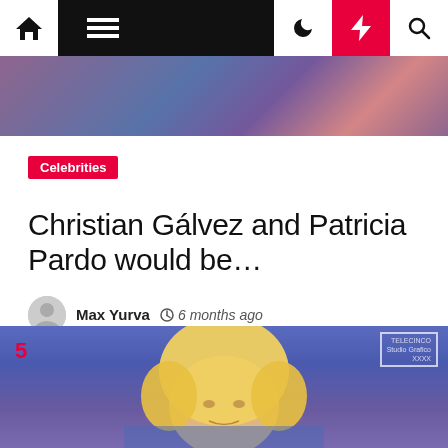Navigation bar with home, menu, moon, bolt, search icons
[Figure (photo): Top portion of an image showing people in colorful clothing, partially cropped]
Celebrities
Christian Gálvez and Patricia Pardo would be…
Max Yurva  6 months ago
[Figure (photo): A blonde woman on a TV set, Telecinco channel logo visible in the top left corner]